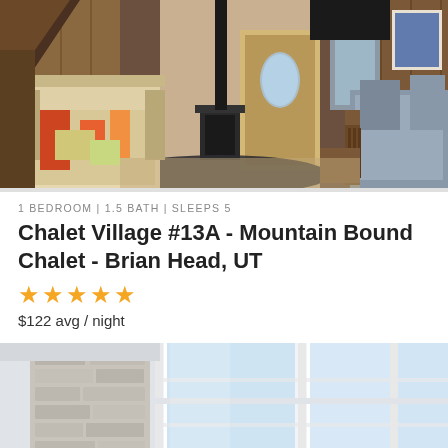[Figure (photo): Interior photo of a mountain chalet living room with colorful patterned armchairs on left, wood-paneled walls, a wood stove, oval-windowed front door in center, and gray sofa on right with wooden mission-style arm]
1 BEDROOM | 1.5 BATH | SLEEPS 5
Chalet Village #13A - Mountain Bound Chalet - Brian Head, UT
★★★★★
$122 avg / night
[Figure (photo): Interior photo of a bright modern room with tall floor-to-ceiling windows, white brick/stone accent wall on left, and natural light flooding in]